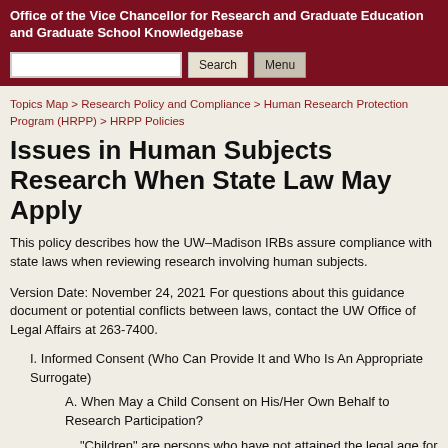Office of the Vice Chancellor for Research and Graduate Education and Graduate School Knowledgebase
Topics Map > Research Policy and Compliance > Human Research Protection Program (HRPP) > HRPP Policies
Issues in Human Subjects Research When State Law May Apply
This policy describes how the UW–Madison IRBs assure compliance with state laws when reviewing research involving human subjects.
Version Date: November 24, 2021 For questions about this guidance document or potential conflicts between laws, contact the UW Office of Legal Affairs at 263-7400.
I. Informed Consent (Who Can Provide It and Who Is An Appropriate Surrogate)
A. When May a Child Consent on His/Her Own Behalf to Research Participation?
“Children” are persons who have not attained the legal age for consent to treatments or procedures involved in the research under applicable law of the jurisdiction in which the research will be